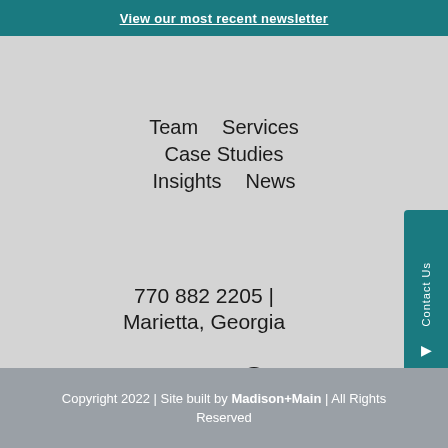View our most recent newsletter
Team
Services
Case Studies
Insights
News
770 882 2205 | Marietta, Georgia
[Figure (other): Social media icons: Facebook, LinkedIn, Podcast]
Contact Us
Copyright 2022 | Site built by Madison+Main | All Rights Reserved